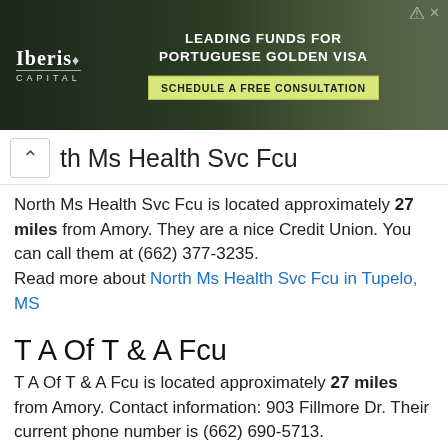[Figure (other): Advertisement banner for Iberis Capital - Leading Funds for Portuguese Golden Visa with Schedule a Free Consultation button]
th Ms Health Svc Fcu
North Ms Health Svc Fcu is located approximately 27 miles from Amory. They are a nice Credit Union. You can call them at (662) 377-3235. Read more about North Ms Health Svc Fcu in Tupelo, MS
T A Of T & A Fcu
T A Of T & A Fcu is located approximately 27 miles from Amory. Contact information: 903 Fillmore Dr. Their current phone number is (662) 690-5713. Read more about T A Of T & A Fcu in Tupelo, MS
Tecumseh Products Employee Fed